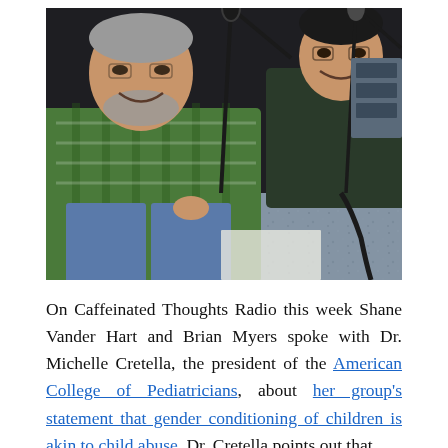[Figure (photo): Two men sitting at a radio studio desk with microphones, smiling. The man in the foreground wears a green plaid shirt; the man behind him wears a dark shirt. Studio equipment and microphone stands are visible on the desk.]
On Caffeinated Thoughts Radio this week Shane Vander Hart and Brian Myers spoke with Dr. Michelle Cretella, the president of the American College of Pediatricians, about her group's statement that gender conditioning of children is akin to child abuse. Dr. Cretella points out that